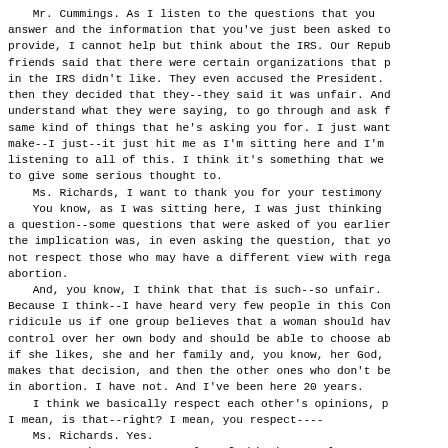Mr. Cummings. As I listen to the questions that you answer and the information that you've just been asked to provide, I cannot help but think about the IRS. Our Republican friends said that there were certain organizations that people in the IRS didn't like. They even accused the President. And then they decided that they--they said it was unfair. And I understand what they were saying, to go through and ask for the same kind of things that he's asking you for. I just want to make--I just--it just hit me as I'm sitting here and I'm listening to all of this. I think it's something that we need to give some serious thought to.
    Ms. Richards, I want to thank you for your testimony.
    You know, as I was sitting here, I was just thinking about a question--some questions that were asked of you earlier, and the implication was, in even asking the question, that you do not respect those who may have a different view with regard to abortion.

    And, you know, I think that that is such--so unfair. Because I think--I have heard very few people in this Congress ridicule us if one group believes that a woman should have control over her own body and should be able to choose abortion if she likes, she and her family and, you know, her God, makes that decision, and then the other ones who don't believe in abortion. I have not. And I've been here 20 years.
    I think we basically respect each other's opinions, because I mean, is that--right? I mean, you respect----
    Ms. Richards. Yes.
    Mr. Cummings. Because a lot of this is a real personal thing. Am I right?
    Ms. Richards. Absolutely. It is.